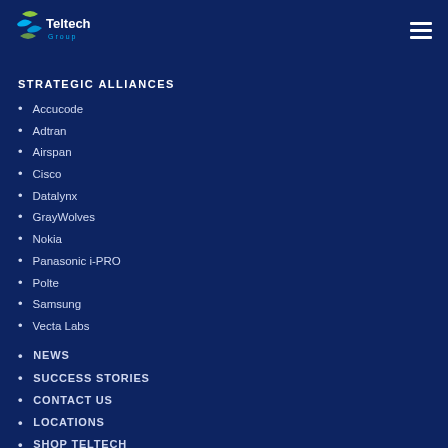Teltech Group
STRATEGIC ALLIANCES
Accucode
Adtran
Airspan
Cisco
Datalynx
GrayWolves
Nokia
Panasonic i-PRO
Polte
Samsung
Vecta Labs
NEWS
SUCCESS STORIES
CONTACT US
LOCATIONS
SHOP TELTECH
CAREERS